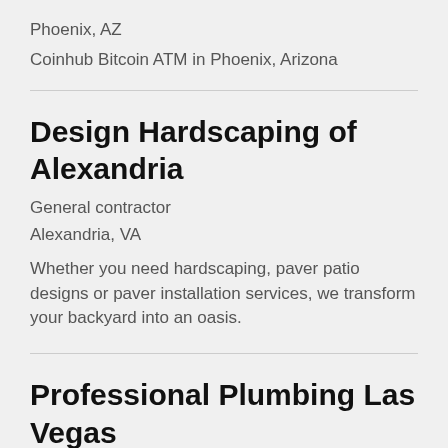Phoenix, AZ
Coinhub Bitcoin ATM in Phoenix, Arizona
Design Hardscaping of Alexandria
General contractor
Alexandria, VA
Whether you need hardscaping, paver patio designs or paver installation services, we transform your backyard into an oasis.
Professional Plumbing Las Vegas